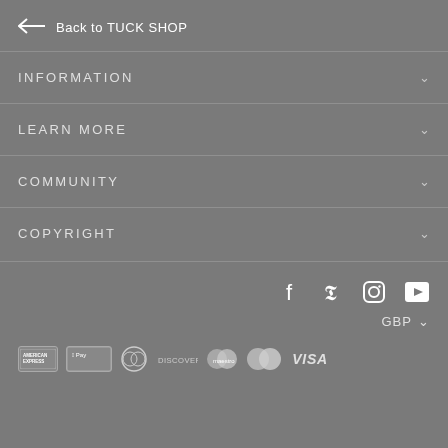← Back to TUCK SHOP
INFORMATION
LEARN MORE
COMMUNITY
COPYRIGHT
[Figure (infographic): Social media icons: Facebook, Pinterest, Instagram, YouTube]
GBP
[Figure (infographic): Payment method logos: American Express, Apple Pay, Diners Club, Discover, Maestro, Mastercard, Visa]